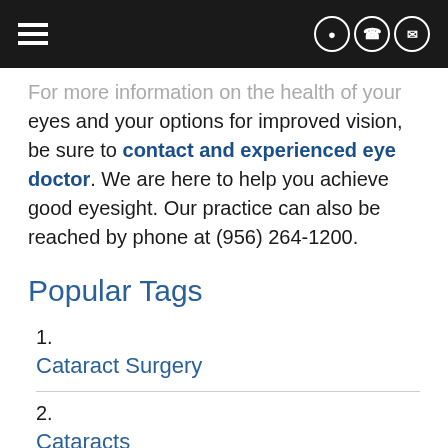[navigation bar with hamburger menu and icons]
...more information on the health of your eyes and your options for improved vision, be sure to contact and experienced eye doctor. We are here to help you achieve good eyesight. Our practice can also be reached by phone at (956) 264-1200.
Popular Tags
1. Cataract Surgery
2. Cataracts
3.